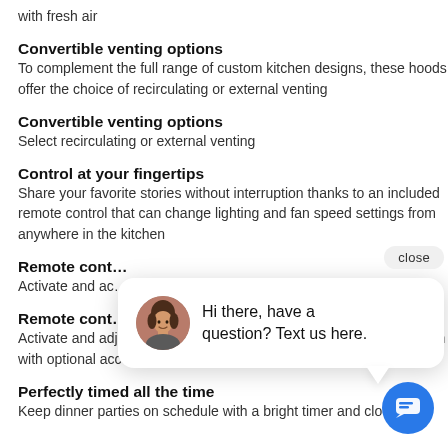with fresh air
Convertible venting options
To complement the full range of custom kitchen designs, these hoods offer the choice of recirculating or external venting
Convertible venting options
Select recirculating or external venting
Control at your fingertips
Share your favorite stories without interruption thanks to an included remote control that can change lighting and fan speed settings from anywhere in the kitchen
Remote cont…
Activate and ac… kitchen with op…
Remote cont…
Activate and adjust your hood functions from anywhere in the kitchen with optional accessory
Perfectly timed all the time
Keep dinner parties on schedule with a bright timer and clock
[Figure (illustration): Chat popup overlay with avatar of a woman, text 'Hi there, have a question? Text us here.' and a close button. A blue circular chat icon button is shown at bottom right.]